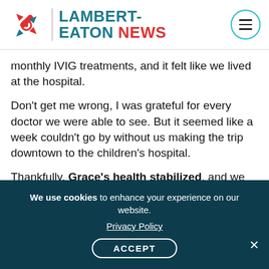[Figure (logo): Lambert-Eaton News logo with rocket/compass icon in red, teal text for LAMBERT-EATON, red text for NEWS, and circular menu button]
monthly IVIG treatments, and it felt like we lived at the hospital.
Don't get me wrong, I was grateful for every doctor we were able to see. But it seemed like a week couldn't go by without us making the trip downtown to the children's hospital.
Thankfully, Grace's health stabilized, and we began to see the specialists less often. Grace's neurologist changed her appointment frequency from every three months to every six months. His team has always been quick to respond to my emails, but I
We use cookies to enhance your experience on our website.
Privacy Policy
ACCEPT